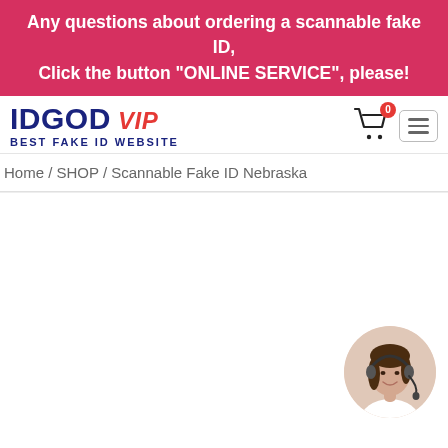Any questions about ordering a scannable fake ID, Click the button "ONLINE SERVICE", please!
[Figure (logo): IDGOD VIP - BEST FAKE ID WEBSITE logo with shopping cart showing 0 items and hamburger menu]
Home / SHOP / Scannable Fake ID Nebraska
[Figure (photo): White product area with a circular photo of a smiling female customer service agent wearing a headset in the bottom right corner]